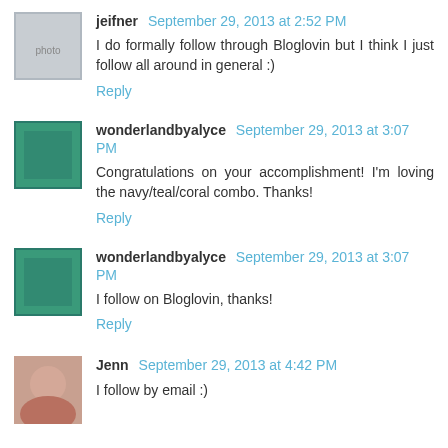jeifner  September 29, 2013 at 2:52 PM
I do formally follow through Bloglovin but I think I just follow all around in general :)
Reply
wonderlandbyalyce  September 29, 2013 at 3:07 PM
Congratulations on your accomplishment! I'm loving the navy/teal/coral combo. Thanks!
Reply
wonderlandbyalyce  September 29, 2013 at 3:07 PM
I follow on Bloglovin, thanks!
Reply
Jenn  September 29, 2013 at 4:42 PM
I follow by email :)